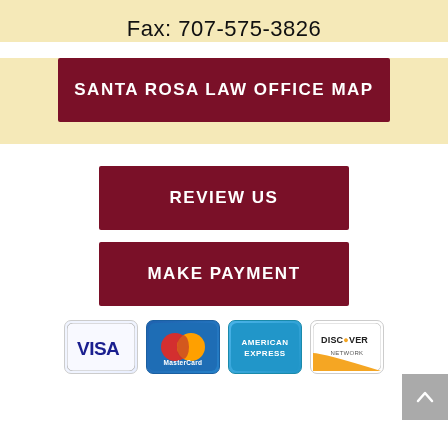Fax: 707-575-3826
SANTA ROSA LAW OFFICE MAP
REVIEW US
MAKE PAYMENT
[Figure (illustration): Payment method icons: Visa, MasterCard, American Express, Discover Network]